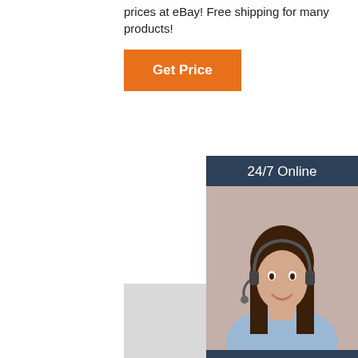prices at eBay! Free shipping for many products!
[Figure (other): Orange 'Get Price' button]
[Figure (other): 24/7 Online customer service sidebar with woman wearing headset, 'Click here for free chat!' text, and orange QUOTATION button]
[Figure (photo): Collection of various small plastic-coated bearings/wheels in multiple colors (white, green, blue, black, beige) scattered on a light gray background]